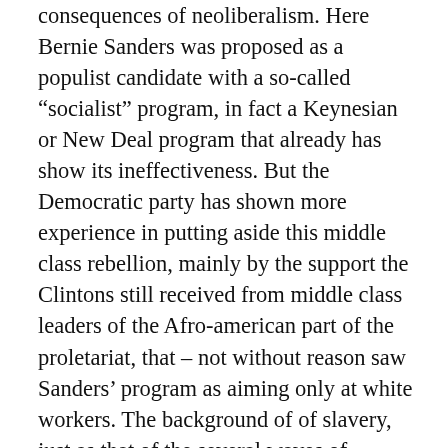consequences of neoliberalism. Here Bernie Sanders was proposed as a populist candidate with a so-called “socialist” program, in fact a Keynesian or New Deal program that already has show its ineffectiveness. But the Democratic party has shown more experience in putting aside this middle class rebellion, mainly by the support the Clintons still received from middle class leaders of the Afro-american part of the proletariat, that – not without reason saw Sanders’ program as aiming only at white workers. The background of of slavery, just as that of the several waves of immigration of new work force of different nationalities and their difficulties of being accepted and integrated, gives the “ethnic” mystification on both the Left and the Right side in the United States a “face value” of actuality and reality. Afro-american and Hispanic and to the effect that the consequences f